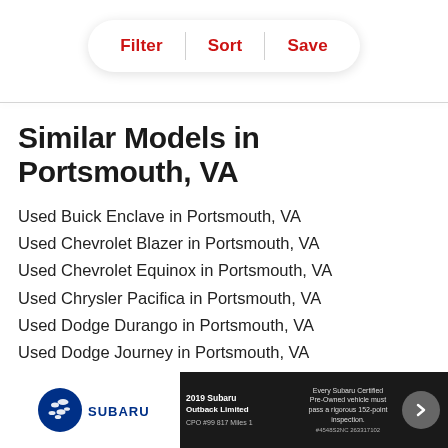[Figure (screenshot): Filter/Sort/Save pill button bar with three red text options separated by dividers, with drop shadow on white background]
Similar Models in Portsmouth, VA
Used Buick Enclave in Portsmouth, VA
Used Chevrolet Blazer in Portsmouth, VA
Used Chevrolet Equinox in Portsmouth, VA
Used Chrysler Pacifica in Portsmouth, VA
Used Dodge Durango in Portsmouth, VA
Used Dodge Journey in Portsmouth, VA
Used Ford Edge in Portsmouth, VA
Used Ford Escape in Portsmouth, VA
[Figure (advertisement): Subaru certified pre-owned advertisement banner at bottom of page with Subaru logo, car image, and text about 152-point inspection]